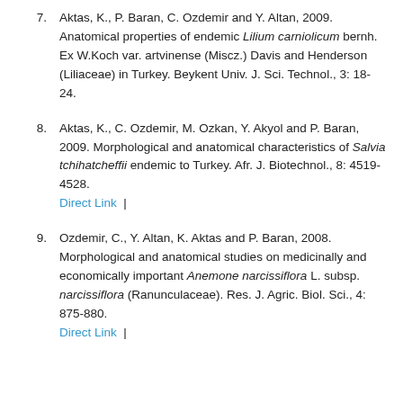7. Aktas, K., P. Baran, C. Ozdemir and Y. Altan, 2009. Anatomical properties of endemic Lilium carniolicum bernh. Ex W.Koch var. artvinense (Miscz.) Davis and Henderson (Liliaceae) in Turkey. Beykent Univ. J. Sci. Technol., 3: 18-24.
8. Aktas, K., C. Ozdemir, M. Ozkan, Y. Akyol and P. Baran, 2009. Morphological and anatomical characteristics of Salvia tchihatcheffii endemic to Turkey. Afr. J. Biotechnol., 8: 4519-4528. Direct Link |
9. Ozdemir, C., Y. Altan, K. Aktas and P. Baran, 2008. Morphological and anatomical studies on medicinally and economically important Anemone narcissiflora L. subsp. narcissiflora (Ranunculaceae). Res. J. Agric. Biol. Sci., 4: 875-880. Direct Link |